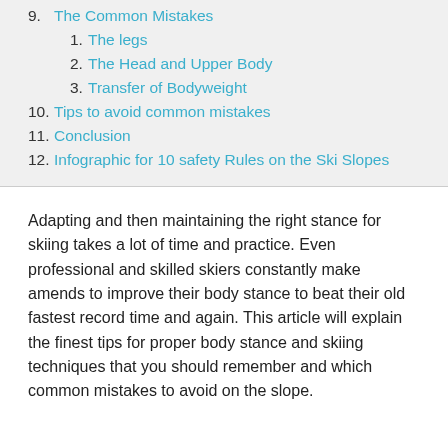9. The Common Mistakes
1. The legs
2. The Head and Upper Body
3. Transfer of Bodyweight
10. Tips to avoid common mistakes
11. Conclusion
12. Infographic for 10 safety Rules on the Ski Slopes
Adapting and then maintaining the right stance for skiing takes a lot of time and practice. Even professional and skilled skiers constantly make amends to improve their body stance to beat their old fastest record time and again. This article will explain the finest tips for proper body stance and skiing techniques that you should remember and which common mistakes to avoid on the slope.